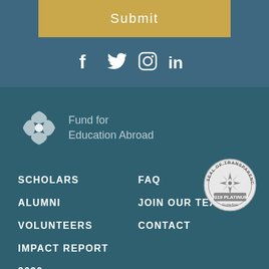Submit
[Figure (infographic): Social media icons: Facebook, Twitter, Instagram, LinkedIn in white on teal background]
[Figure (logo): Fund for Education Abroad logo with starburst/hourglass white symbol and text 'Fund for Education Abroad']
SCHOLARS
ALUMNI
VOLUNTEERS
IMPACT REPORT
2020
FAQ
JOIN OUR TEAM
CONTACT
[Figure (logo): Seal of Transparency 2019 Platinum GuideStar badge - circular seal with compass/star design]